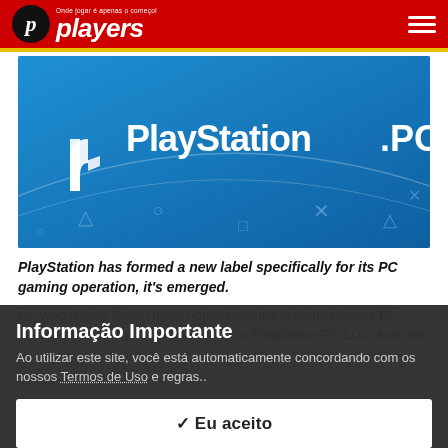players — Onde jogar é apenas o começo!
[Figure (screenshot): PlayStation PC logo on a blue background with PS controller symbol icons scattered around]
PlayStation has formed a new label specifically for its PC gaming operation, it's emerged.
On Wednesday Steam users noticed that the platform holder's PC releases had their publisher switched to 'PlayStation PC LLC', from the
Informação Importante
Ao utilizar este site, você está automaticamente concordando com os nossos Termos de Uso e regras..
✓ Eu aceito